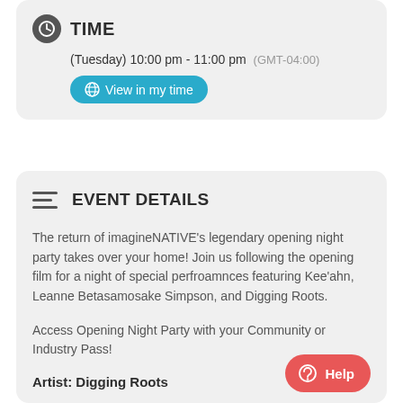TIME
(Tuesday) 10:00 pm - 11:00 pm   (GMT-04:00)
View in my time
EVENT DETAILS
The return of imagineNATIVE's legendary opening night party takes over your home! Join us following the opening film for a night of special perfroamnces featuring Kee'ahn, Leanne Betasamosake Simpson, and Digging Roots.
Access Opening Night Party with your Community or Industry Pass!
Artist: Digging Roots